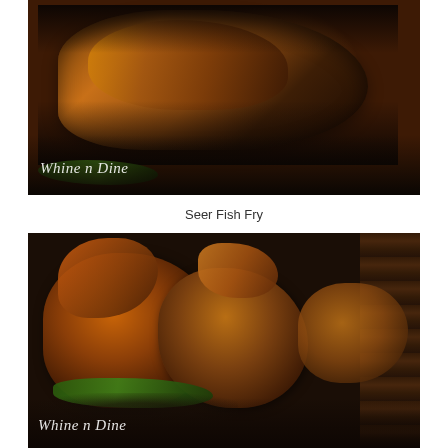[Figure (photo): Close-up food photo of Seer Fish Fry — dark, spice-crusted fish pieces served on a banana leaf over a dark slate plate. Watermark 'Whine n Dine' in white italic text at bottom left.]
Seer Fish Fry
[Figure (photo): Close-up food photo of fried crab or prawn pieces served on a banana leaf on a dark plate, with wooden surface visible in background. Watermark 'Whine n Dine' in white italic text at bottom left.]